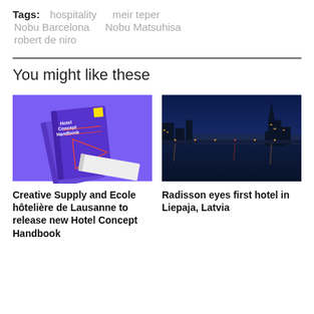Tags: hospitality  meir teper  Nobu Barcelona  Nobu Matsuhisa  robert de niro
You might like these
[Figure (photo): Book covers for Hotel Concept Handbook on a purple background]
[Figure (photo): Night cityscape of Liepaja, Latvia with river reflections and illuminated buildings]
Creative Supply and Ecole hôtelière de Lausanne to release new Hotel Concept Handbook
Radisson eyes first hotel in Liepaja, Latvia